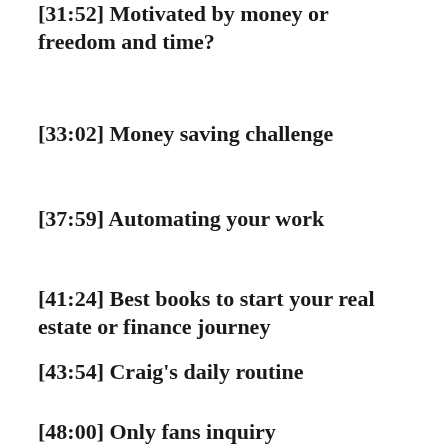[31:52] Motivated by money or freedom and time?
[33:02] Money saving challenge
[37:59] Automating your work
[41:24] Best books to start your real estate or finance journey
[43:54] Craig’s daily routine
[48:00] Only fans inquiry
The...